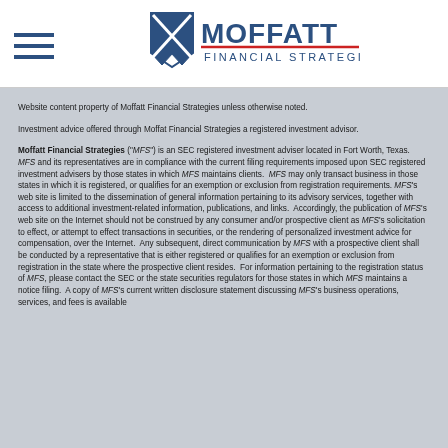[Figure (logo): Moffatt Financial Strategies logo with shield icon and company name text, alongside a hamburger menu icon]
Website content property of Moffatt Financial Strategies unless otherwise noted.
Investment advice offered through Moffat Financial Strategies a registered investment advisor.
Moffatt Financial Strategies ("MFS") is an SEC registered investment adviser located in Fort Worth, Texas. MFS and its representatives are in compliance with the current filing requirements imposed upon SEC registered investment advisers by those states in which MFS maintains clients. MFS may only transact business in those states in which it is registered, or qualifies for an exemption or exclusion from registration requirements. MFS's web site is limited to the dissemination of general information pertaining to its advisory services, together with access to additional investment-related information, publications, and links. Accordingly, the publication of MFS's web site on the Internet should not be construed by any consumer and/or prospective client as MFS's solicitation to effect, or attempt to effect transactions in securities, or the rendering of personalized investment advice for compensation, over the Internet. Any subsequent, direct communication by MFS with a prospective client shall be conducted by a representative that is either registered or qualifies for an exemption or exclusion from registration in the state where the prospective client resides. For information pertaining to the registration status of MFS, please contact the SEC or the state securities regulators for those states in which MFS maintains a notice filing. A copy of MFS's current written disclosure statement discussing MFS's business operations, services, and fees is available